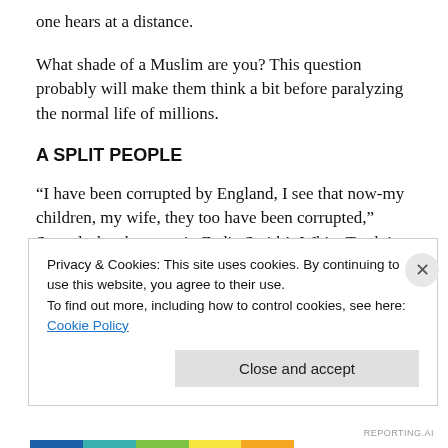one hears at a distance.
What shade of a Muslim are you? This question probably will make them think a bit before paralyzing the normal life of millions.
A SPLIT PEOPLE
“I have been corrupted by England, I see that now-my children, my wife, they too have been corrupted,” Samad- the character in Zadie Smith’s White Teeth is a textural representative of immigrants of various ethnicities, worries
Privacy & Cookies: This site uses cookies. By continuing to use this website, you agree to their use.
To find out more, including how to control cookies, see here: Cookie Policy
Close and accept